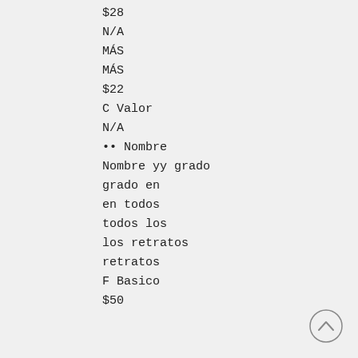$28
N/A
MÁS
MÁS
$22
C Valor
N/A
•• Nombre
Nombre yy grado
grado en
en todos
todos los
los retratos
retratos
F Basico
$50
$11
CD
CD del
del retrato
retrato
D Lo último
$34
B Premium